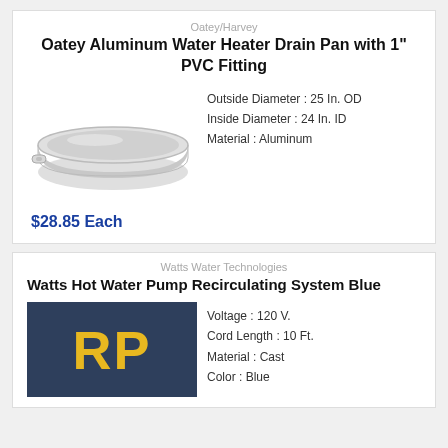Oatey/Harvey
Oatey Aluminum Water Heater Drain Pan with 1" PVC Fitting
[Figure (photo): Aluminum circular drain pan with PVC fitting on the side, viewed from a slightly elevated angle.]
Outside Diameter : 25 In. OD
Inside Diameter : 24 In. ID
Material : Aluminum
$28.85 Each
Watts Water Technologies
Watts Hot Water Pump Recirculating System Blue
[Figure (logo): Dark blue background with yellow bold letters 'RP' — Watts Water Technologies / Red-White product logo placeholder.]
Voltage : 120 V.
Cord Length : 10 Ft.
Material : Cast
Color : Blue